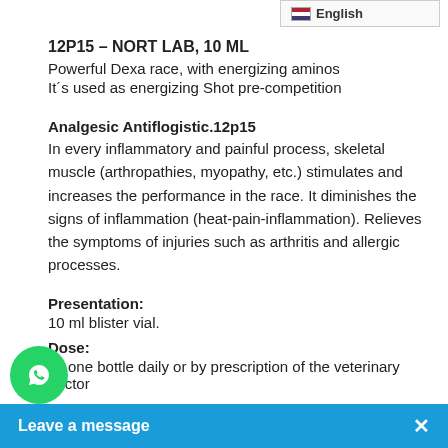en English
12P15 – NORT LAB, 10 ML
Powerful Dexa race, with energizing aminos
It's used as energizing Shot pre-competition
Analgesic Antiflogistic.12p15
In every inflammatory and painful process, skeletal muscle (arthropathies, myopathy, etc.) stimulates and increases the performance in the race. It diminishes the signs of inflammation (heat-pain-inflammation). Relieves the symptoms of injuries such as arthritis and allergic processes.
Presentation:
10 ml blister vial.
Dose:
es one bottle daily or by prescription of the veterinary doctor